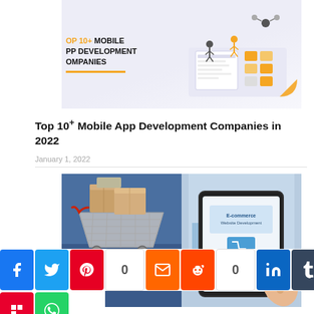[Figure (illustration): Top 10+ Mobile App Development Companies illustration with isometric design elements, text on left side reading 'OP 10+ MOBILE PP DEVELOPMENT OMPANIES' in bold with orange accent, and colorful isometric tech graphics on right]
Top 10+ Mobile App Development Companies in 2022
January 1, 2022
[Figure (photo): E-commerce website development photo: left side shows shopping cart with boxes on keyboard, right side shows tablet displaying 'E-commerce Website Development' screen with shopping cart icon, person's hand touching screen]
[Figure (infographic): Social share bar with Facebook (blue), Twitter (light blue), Pinterest (red), count box showing 0, Email (orange), Reddit (orange-red), count box showing 0, LinkedIn (dark blue), Tumblr (dark blue-grey), and second row with Flipboard (red) and WhatsApp (green)]